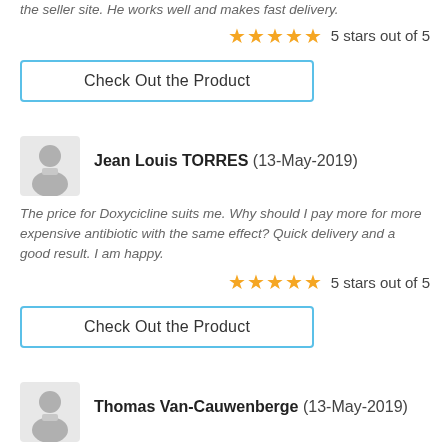the seller site. He works well and makes fast delivery.
5 stars out of 5
Check Out the Product
Jean Louis TORRES (13-May-2019)
The price for Doxycicline suits me. Why should I pay more for more expensive antibiotic with the same effect? Quick delivery and a good result. I am happy.
5 stars out of 5
Check Out the Product
Thomas Van-Cauwenberge (13-May-2019)
My friend advised to buy Viagra and Dapoxetine, and I bought it on the same website where he usually takes it. It is here the site. I am 27